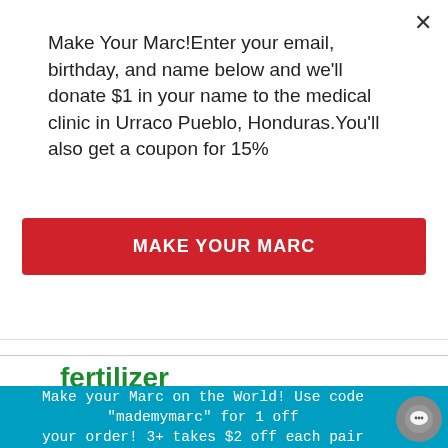Make Your Marc!Enter your email, birthday, and name below and we'll donate $1 in your name to the medical clinic in Urraco Pueblo, Honduras.You'll also get a coupon for 15%
MAKE YOUR MARC
fertilizer
fit
flu
flu season
footprint
forest
fund
garden
Make your Marc on the World! Use code "mademymarc" for 1 off your order! 3+ takes $2 off each pair